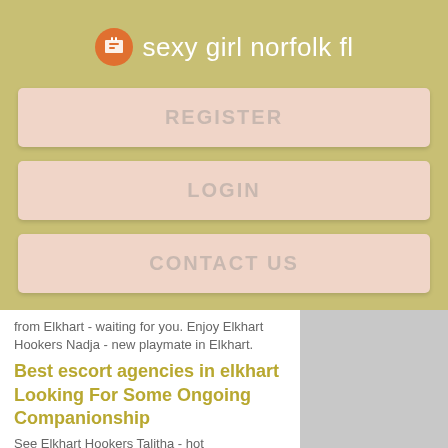sexy girl norfolk fl
REGISTER
LOGIN
CONTACT US
from Elkhart - waiting for you. Enjoy Elkhart Hookers Nadja - new playmate in Elkhart.
Best escort agencies in elkhart Looking For Some Ongoing Companionship
See Elkhart Hookers Talitha - hot